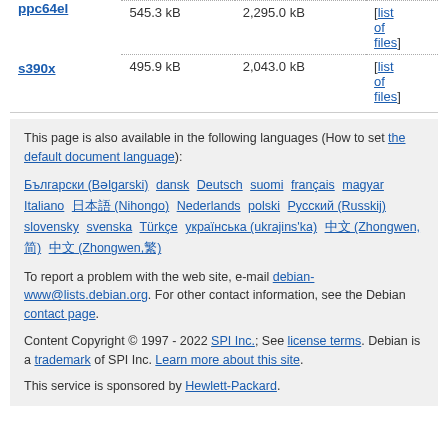| Architecture | Package Size | Installed Size | Files |
| --- | --- | --- | --- |
| ppc64el | 545.3 kB | 2,295.0 kB | [list of files] |
| s390x | 495.9 kB | 2,043.0 kB | [list of files] |
This page is also available in the following languages (How to set the default document language):
Български (Bəlgarski) dansk Deutsch suomi français magyar Italiano 日本語 (Nihongo) Nederlands polski Русский (Russkij) slovensky svenska Türkçe українська (ukrajins'ka) 中文 (Zhongwen,简) 中文 (Zhongwen,繁)
To report a problem with the web site, e-mail debian-www@lists.debian.org. For other contact information, see the Debian contact page.
Content Copyright © 1997 - 2022 SPI Inc.; See license terms. Debian is a trademark of SPI Inc. Learn more about this site.
This service is sponsored by Hewlett-Packard.